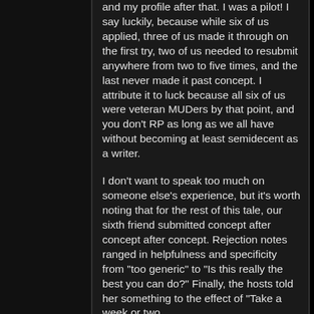and my profile after that. I was a pilot! I say luckily, because while six of us applied, three of us made it through on the first try, two of us needed to resubmit anywhere from two to five times, and the last never made it past concept. I attribute it to luck because all six of us were veteran MUDers by that point, and you don't RP as long as we all have without becoming at least semidecent as a writer.
I don't want to speak too much on someone else's experience, but it's worth noting that for the rest of this tale, our sixth friend submitted concept after concept after concept. Rejection notes ranged in helpfulness and specificity from "too generic" to "Is this really the best you can do?" Finally, the hosts told her something to the effect of "Take a week or two,